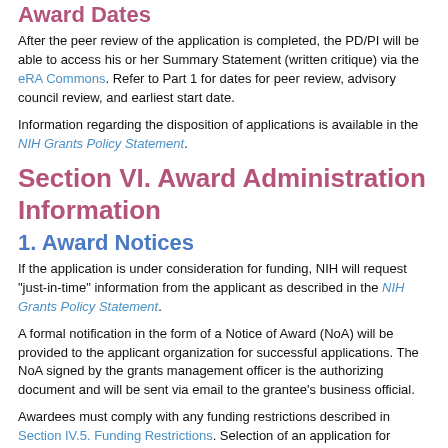Award Dates
After the peer review of the application is completed, the PD/PI will be able to access his or her Summary Statement (written critique) via the eRA Commons. Refer to Part 1 for dates for peer review, advisory council review, and earliest start date.
Information regarding the disposition of applications is available in the NIH Grants Policy Statement.
Section VI. Award Administration Information
1. Award Notices
If the application is under consideration for funding, NIH will request "just-in-time" information from the applicant as described in the NIH Grants Policy Statement.
A formal notification in the form of a Notice of Award (NoA) will be provided to the applicant organization for successful applications. The NoA signed by the grants management officer is the authorizing document and will be sent via email to the grantee’s business official.
Awardees must comply with any funding restrictions described in Section IV.5. Funding Restrictions. Selection of an application for